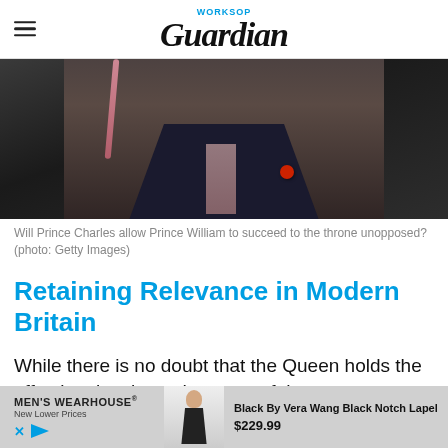WORKSOP Guardian
[Figure (photo): Close-up photograph of a man in a dark pinstripe suit with a red poppy on his lapel and a pink tie, with another person in the background and a person with a pink lanyard visible on the left.]
Will Prince Charles allow Prince William to succeed to the throne unopposed? (photo: Getty Images)
Retaining Relevance in Modern Britain
While there is no doubt that the Queen holds the affection, loyalty and respect of the vast majority... that t... ably
[Figure (other): Advertisement banner: MEN'S WEARHOUSE New Lower Prices, with tuxedo image, Black By Vera Wang Black Notch Lapel $229.99]